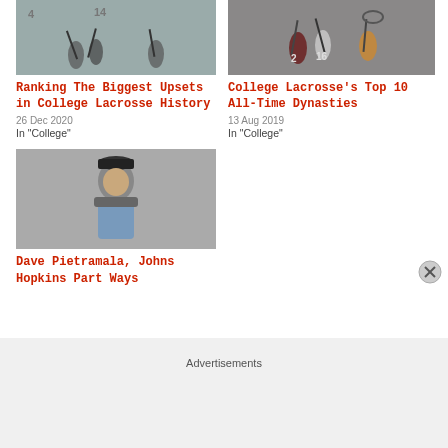[Figure (photo): Black and white photo of lacrosse players on field]
Ranking The Biggest Upsets in College Lacrosse History
26 Dec 2020
In "College"
[Figure (photo): Color photo of lacrosse players in action]
College Lacrosse's Top 10 All-Time Dynasties
13 Aug 2019
In "College"
[Figure (photo): Photo of Dave Pietramala, coach in light blue jacket and black cap]
Dave Pietramala, Johns Hopkins Part Ways
Advertisements